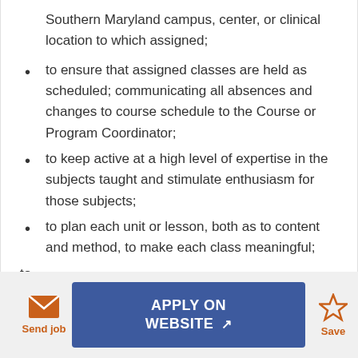Southern Maryland campus, center, or clinical location to which assigned;
to ensure that assigned classes are held as scheduled; communicating all absences and changes to course schedule to the Course or Program Coordinator;
to keep active at a high level of expertise in the subjects taught and stimulate enthusiasm for those subjects;
to plan each unit or lesson, both as to content and method, to make each class meaningful;
Send job | APPLY ON WEBSITE | Save